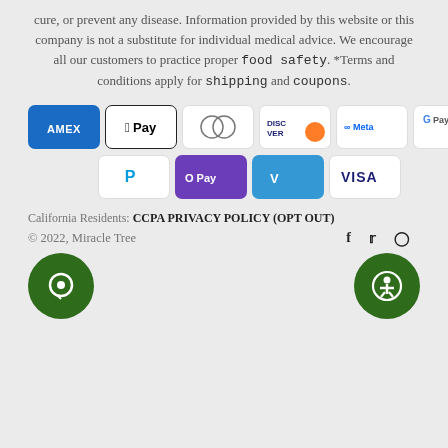cure, or prevent any disease. Information provided by this website or this company is not a substitute for individual medical advice. We encourage all our customers to practice proper food safety. *Terms and conditions apply for shipping and coupons.
[Figure (infographic): Payment method icons: American Express, Apple Pay, Diners Club, Discover, Meta Pay, Google Pay, Mastercard, PayPal, O Pay, Venmo, Visa]
California Residents: CCPA PRIVACY POLICY (OPT OUT)
© 2022, Miracle Tree
[Figure (infographic): Chat bubble icon and accessibility icon in green circles at bottom of page]